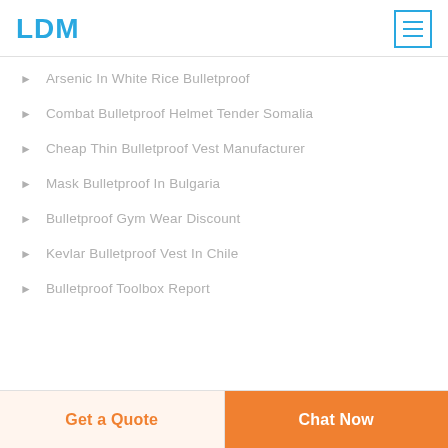LDM
Arsenic In White Rice Bulletproof
Combat Bulletproof Helmet Tender Somalia
Cheap Thin Bulletproof Vest Manufacturer
Mask Bulletproof In Bulgaria
Bulletproof Gym Wear Discount
Kevlar Bulletproof Vest In Chile
Bulletproof Toolbox Report
Get a Quote  Chat Now